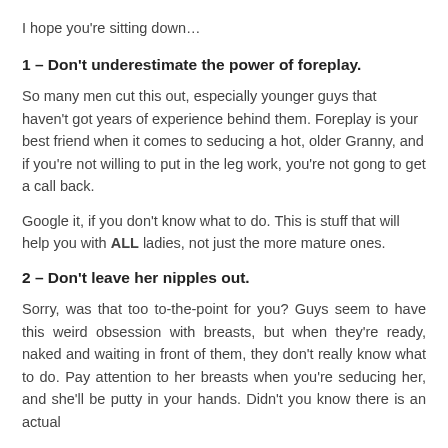I hope you're sitting down…
1 – Don't underestimate the power of foreplay.
So many men cut this out, especially younger guys that haven't got years of experience behind them. Foreplay is your best friend when it comes to seducing a hot, older Granny, and if you're not willing to put in the leg work, you're not gong to get a call back.
Google it, if you don't know what to do. This is stuff that will help you with ALL ladies, not just the more mature ones.
2 – Don't leave her nipples out.
Sorry, was that too to-the-point for you? Guys seem to have this weird obsession with breasts, but when they're ready, naked and waiting in front of them, they don't really know what to do. Pay attention to her breasts when you're seducing her, and she'll be putty in your hands. Didn't you know there is an actual